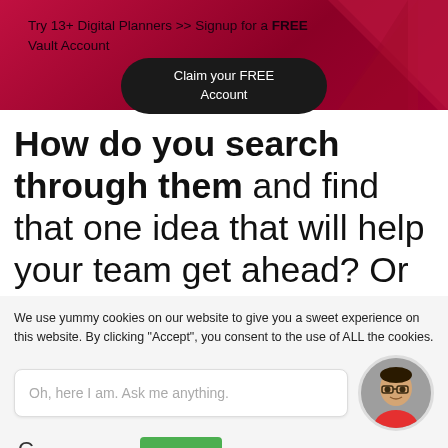Try 13+ Digital Planners >> Signup for a FREE Vault Account
[Figure (other): Dark pill-shaped button with white text reading 'Claim your FREE Account']
How do you search through them and find that one idea that will help your team get ahead? Or how do you keep track of all those different thoughts that may come to you during a
We use yummy cookies on our website to give you a sweet experience on this website. By clicking “Accept”, you consent to the use of ALL the cookies.
Oh, here I am. Ask me anything.